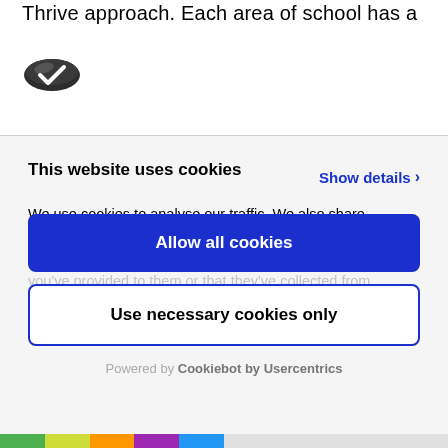Thrive approach. Each area of school has a
[Figure (logo): Cookiebot/cookie consent service logo — dark oval cookie icon]
This website uses cookies
We use cookies to analyse our traffic. We also share information about your use of our site with our analytics partners who may combine it with other information that
Show details ›
Allow all cookies
Use necessary cookies only
Powered by Cookiebot by Usercentrics